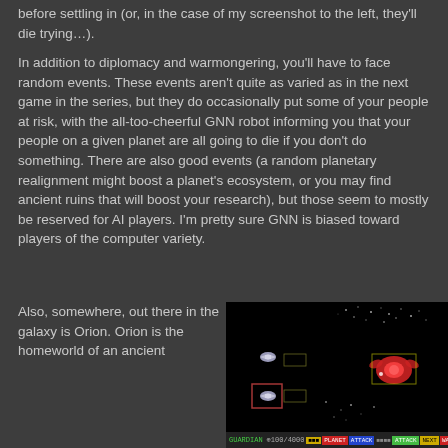before settling in (or, in the case of my screenshot to the left, they'll die trying…).
In addition to diplomacy and warmongering, you'll have to face random events. These events aren't quite as varied as in the next game in the series, but they do occasionally put some of your people at risk, with the all-too-cheerful GNN robot informing you that your people on a given planet are all going to die if you don't do something. There are also good events (a random planetary realignment might boost a planet's ecosystem, or you may find ancient ruins that will boost your research), but those seem to mostly be reserved for AI players. I'm pretty sure GNN is biased toward players of the computer variety.
Also, somewhere, out there in the galaxy is Orion. Orion is the homeworld of an ancient
[Figure (screenshot): A space combat screenshot from a retro video game showing ships and particles against a black background, with a colorful HUD bar at the bottom showing GUARDIAN, health/energy stats, and action buttons.]